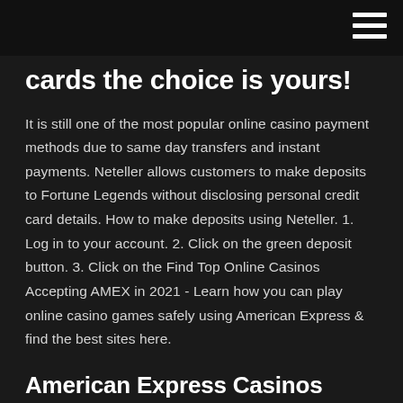cards the choice is yours!
It is still one of the most popular online casino payment methods due to same day transfers and instant payments. Neteller allows customers to make deposits to Fortune Legends without disclosing personal credit card details. How to make deposits using Neteller. 1. Log in to your account. 2. Click on the green deposit button. 3. Click on the Find Top Online Casinos Accepting AMEX in 2021 - Learn how you can play online casino games safely using American Express & find the best sites here.
American Express Casinos 2021! Find here your favorite American Express Online Casino, read Player Reviews and